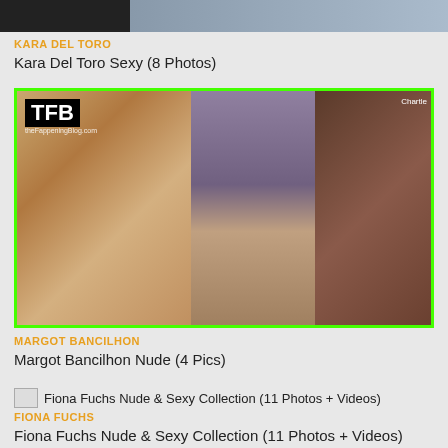[Figure (photo): Top partial image cropped at top of page]
KARA DEL TORO
Kara Del Toro Sexy (8 Photos)
[Figure (photo): TFB watermarked collage of three scenes with green neon border]
MARGOT BANCILHON
Margot Bancilhon Nude (4 Pics)
Fiona Fuchs Nude & Sexy Collection (11 Photos + Videos)
FIONA FUCHS
Fiona Fuchs Nude & Sexy Collection (11 Photos + Videos)